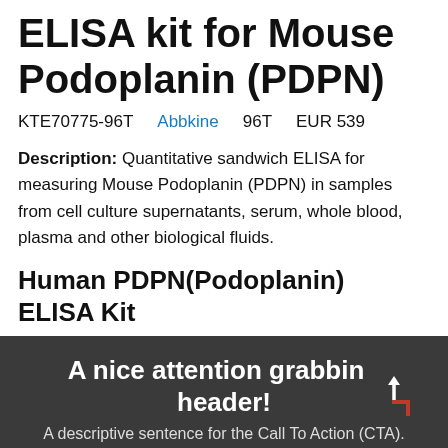ELISA kit for Mouse Podoplanin (PDPN)
KTE70775-96T    Abbkine    96T    EUR 539
Description: Quantitative sandwich ELISA for measuring Mouse Podoplanin (PDPN) in samples from cell culture supernatants, serum, whole blood, plasma and other biological fluids.
Human PDPN(Podoplanin) ELISA Kit
A nice attention grabbing header!
A descriptive sentence for the Call To Action (CTA).